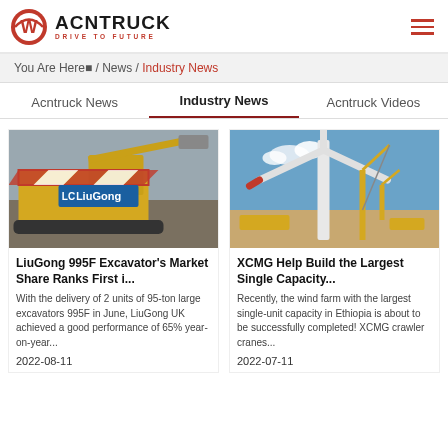ACNTRUCK DRIVE TO FUTURE
You Are Here■ / News / Industry News
Acntruck News | Industry News | Acntruck Videos
[Figure (photo): LiuGong 995F large excavator with red and yellow chevron markings and LiuGong branding on a construction site]
LiuGong 995F Excavator's Market Share Ranks First i...
With the delivery of 2 units of 95-ton large excavators 995F in June, LiuGong UK achieved a good performance of 65% year-on-year...
2022-08-11
[Figure (photo): XCMG crawler cranes assembling a large wind turbine at a wind farm construction site in Ethiopia under a blue sky]
XCMG Help Build the Largest Single Capacity...
Recently, the wind farm with the largest single-unit capacity in Ethiopia is about to be successfully completed! XCMG crawler cranes...
2022-07-11